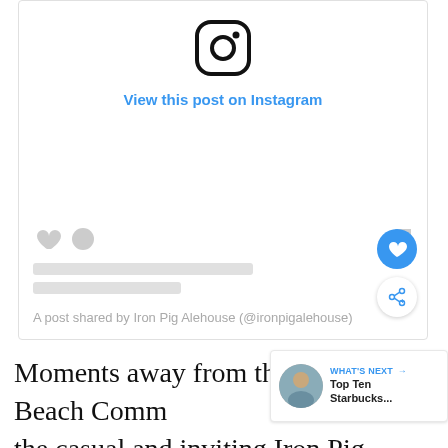[Figure (screenshot): Instagram embedded post placeholder showing Instagram logo, 'View this post on Instagram' link in blue, placeholder gray bars for caption/likes, heart and comment icons, bookmark icon, a blue circular like button and a share button, and attribution text 'A post shared by Iron Pig Alehouse (@ironpigalehouse)']
Moments away from the Pacific Beach Community Park is the casual and inviting Iron Pig Alehouse. The interior is modern, with stools everywhere which go a long